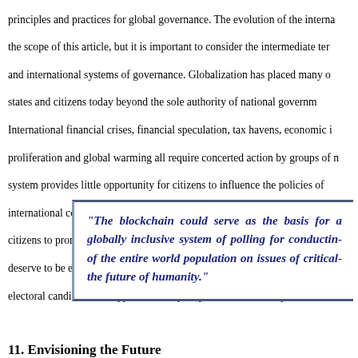principles and practices for global governance. The evolution of the international system is beyond the scope of this article, but it is important to consider the intermediate term interplay between national and international systems of governance. Globalization has placed many of the problems confronting states and citizens today beyond the sole authority of national governments to address unilaterally. International financial crises, financial speculation, tax havens, economic inequality, weapons proliferation and global warming all require concerted action by groups of nations. The current system provides little opportunity for citizens to influence the policies of international bodies or promote international cooperation. Innovative approaches, such as those by SIMPOL, enable groups of citizens to promote simultaneous policy formulation internationally on major global issues, and deserve to be experimented on widely. The SIMPOL model is an innovative one that asks electoral candidates to support a set of policy measures that require international cooperation.
“The blockchain could serve as the basis for a globally inclusive system of polling for conducting polls of the entire world population on issues of critical importance to the future of humanity.”
11. Envisioning the Future